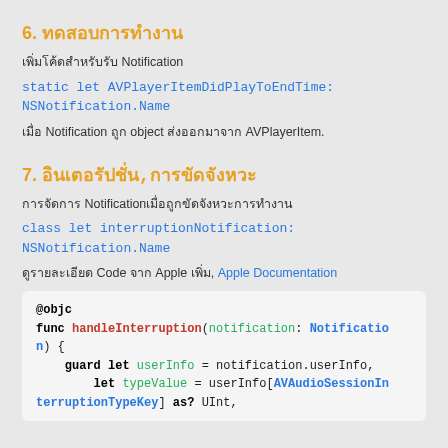6. ทดสอบการทำงาน
เพิ่มโค้ดสำหรับรับ Notification
static let AVPlayerItemDidPlayToEndTime: NSNotification.Name
เมื่อ Notification ถูก object ส่งออกมาจาก AVPlayerItem.
7. อินเตอรัปชั่น,การขัดจังหวะ
การจัดการ Notificationเมื่อถูกขัดจังหวะการทำงาน
class let interruptionNotification: NSNotification.Name
ดูรายละเอียด Code จาก Apple เพิ่ม, Apple Documentation
@objc
func handleInterruption(notification: Notification) {
    guard let userInfo = notification.userInfo,
          let typeValue = userInfo[AVAudioSessionInterruptionTypeKey] as? UInt,